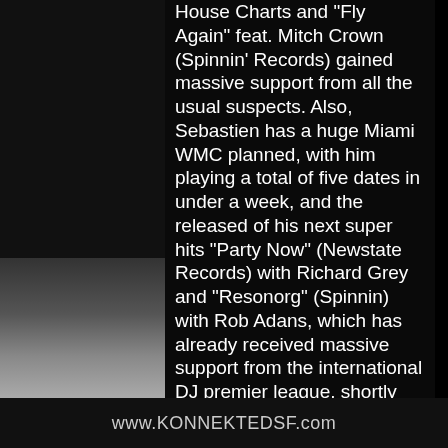House Charts and "Fly Again" feat. Mitch Crown (Spinnin' Records) gained massive support from all the usual suspects. Also, Sebastien has a huge Miami WMC planned, with him playing a total of five dates in under a week, and the released of his next super hits "Party Now" (Newstate Records) with Richard Grey and "Resonorg" (Spinnin) with Rob Adans, which has already received massive support from the international DJ premier league, shortly after the conference. With forthcoming tours in Russia, Brazil and Australia this year is already shaping up nicely for House music's next superstar!
21+ 9:30PM - 2AM at Harlot 46 Minna Street
www.KONNEKTEDSF.com